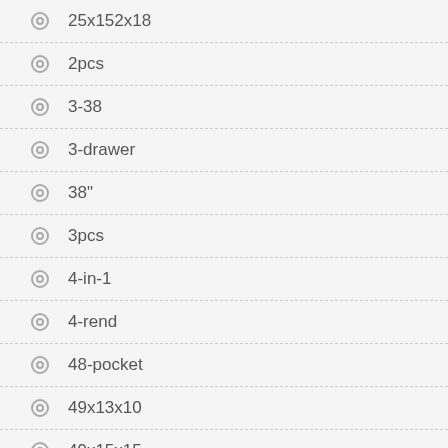25x152x18
2pcs
3-38
3-drawer
38"
3pcs
4-in-1
4-rend
48-pocket
49x13x10
49x15x15